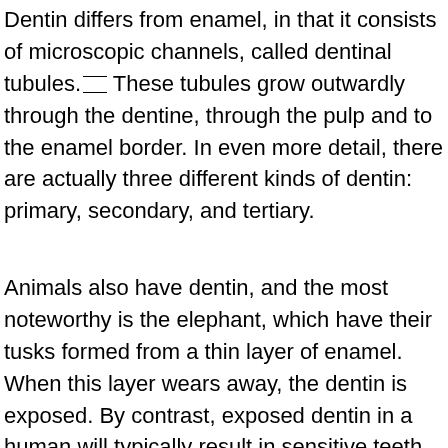Dentin differs from enamel, in that it consists of microscopic channels, called dentinal tubules.[citation] These tubules grow outwardly through the dentine, through the pulp and to the enamel border. In even more detail, there are actually three different kinds of dentin: primary, secondary, and tertiary.
Animals also have dentin, and the most noteworthy is the elephant, which have their tusks formed from a thin layer of enamel. When this layer wears away, the dentin is exposed. By contrast, exposed dentin in a human will typically result in sensitive teeth. Dentin is actually makes up the majority of your , and makes up more than 60% of it.